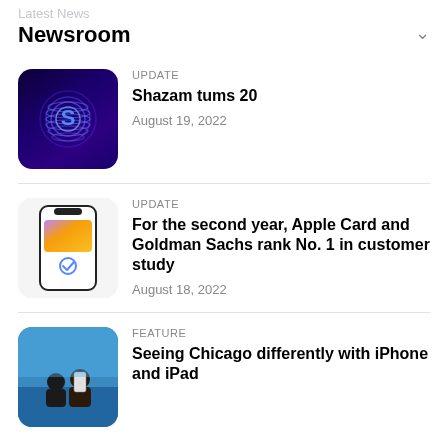Latest News
Newsroom
UPDATE
Shazam tums 20
August 19, 2022
UPDATE
For the second year, Apple Card and Goldman Sachs rank No. 1 in customer study
August 18, 2022
FEATURE
Seeing Chicago differently with iPhone and iPad